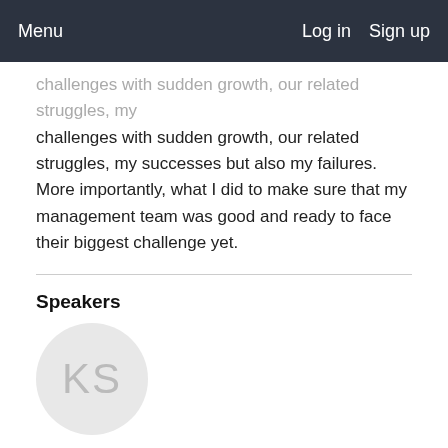Menu   Log in   Sign up
challenges with sudden growth, our related struggles, my successes but also my failures. More importantly, what I did to make sure that my management team was good and ready to face their biggest challenge yet.
Speakers
[Figure (illustration): Circular avatar placeholder with initials KS in gray on light gray background]
Kaushal Singh
QA Manager, Babel Media
Kaushal Singh is the QA manager at Babel Media which is a part of the global Keywords group of studios. In